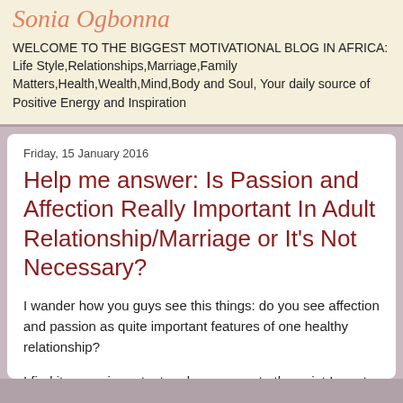Sonia Ogbonna
WELCOME TO THE BIGGEST MOTIVATIONAL BLOG IN AFRICA: Life Style,Relationships,Marriage,Family Matters,Health,Wealth,Mind,Body and Soul, Your daily source of Positive Energy and Inspiration
Friday, 15 January 2016
Help me answer: Is Passion and Affection Really Important In Adult Relationship/Marriage or It's Not Necessary?
I wander how you guys see this things: do you see affection and passion as quite important features of one healthy relationship?
I find it soooo important and necessary to the point Im not sure if it's only me or other females also crave it badly. And what of guys?